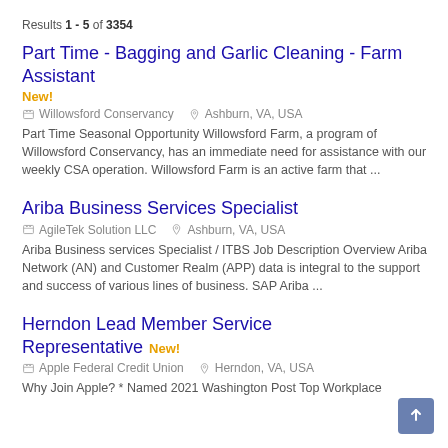Results 1 - 5 of 3354
Part Time - Bagging and Garlic Cleaning - Farm Assistant
New!
Willowsford Conservancy   Ashburn, VA, USA
Part Time Seasonal Opportunity Willowsford Farm, a program of Willowsford Conservancy, has an immediate need for assistance with our weekly CSA operation. Willowsford Farm is an active farm that ...
Ariba Business Services Specialist
AgileTek Solution LLC   Ashburn, VA, USA
Ariba Business services Specialist / ITBS Job Description Overview Ariba Network (AN) and Customer Realm (APP) data is integral to the support and success of various lines of business. SAP Ariba ...
Herndon Lead Member Service Representative
New!
Apple Federal Credit Union   Herndon, VA, USA
Why Join Apple? * Named 2021 Washington Post Top Workplace